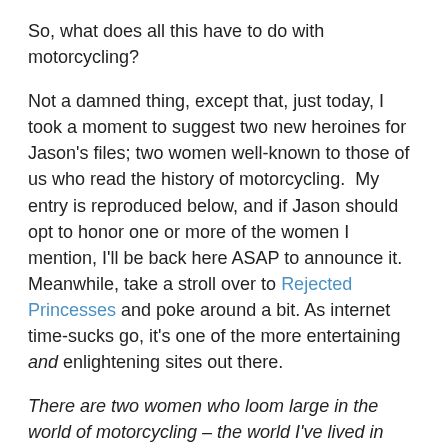So, what does all this have to do with motorcycling?
Not a damned thing, except that, just today, I took a moment to suggest two new heroines for Jason's files; two women well-known to those of us who read the history of motorcycling.  My entry is reproduced below, and if Jason should opt to honor one or more of the women I mention, I'll be back here ASAP to announce it.  Meanwhile, take a stroll over to Rejected Princesses and poke around a bit.  As internet time-sucks go, it's one of the more entertaining and enlightening sites out there.
There are two women who loom large in the world of motorcycling – the world I've lived in since I was seven years old (55 years ago) and got my first ride on the back of a neighbor boy's bike.